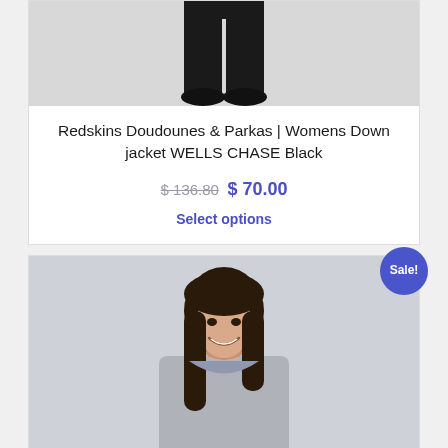[Figure (photo): Product photo showing lower body wearing black down jacket/pants on gray background]
Redskins Doudounes & Parkas | Womens Down jacket WELLS CHASE Black
$ 136.80 $ 70.00
Select options
[Figure (photo): Product photo showing woman with dark hair smiling, wearing clothing on light gray background, with Sale! badge]
Sale!